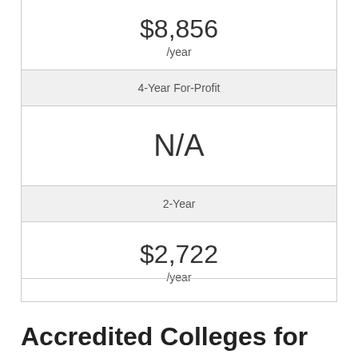| $8,856 /year |
| 4-Year For-Profit |
| N/A |
| 2-Year |
| $2,722 /year |
Accredited Colleges for